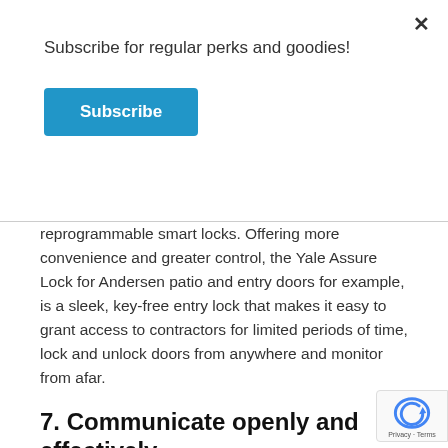Subscribe for regular perks and goodies!
Subscribe
reprogrammable smart locks. Offering more convenience and greater control, the Yale Assure Lock for Andersen patio and entry doors for example, is a sleek, key-free entry lock that makes it easy to grant access to contractors for limited periods of time, lock and unlock doors from anywhere and monitor from afar.
7. Communicate openly and effectively.
If a renovation is done correctly, you may never have to repeat the process. This makes open and honest communication with your home renovation tea...